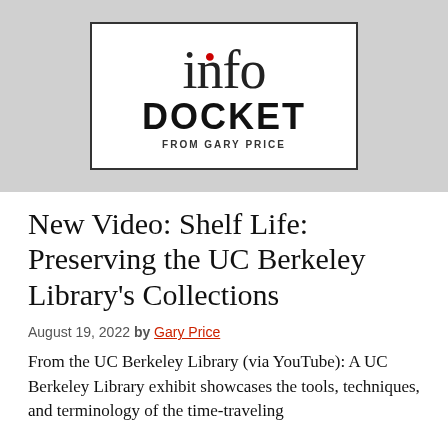[Figure (logo): Info Docket logo — white box with border on grey background. Shows 'info' in outlined serif font with a red dot over the 'i', 'DOCKET' in bold black sans-serif, and 'FROM GARY PRICE' in small caps below.]
New Video: Shelf Life: Preserving the UC Berkeley Library's Collections
August 19, 2022 by Gary Price
From the UC Berkeley Library (via YouTube): A UC Berkeley Library exhibit showcases the tools, techniques, and terminology of the time-traveling